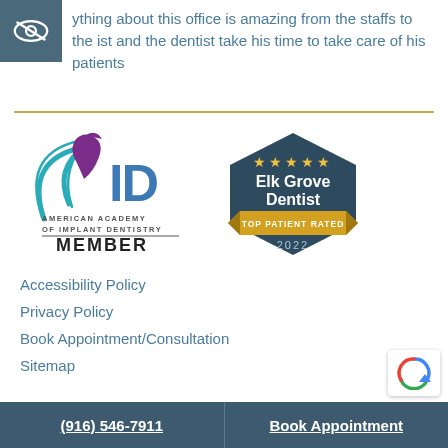ything about this office is amazing from the staffs to the ist and the dentist take his time to take care of his patients
[Figure (logo): American Academy of Implant Dentistry MEMBER logo with teal/purple swoosh design]
[Figure (logo): Elk Grove Dentist Top Patient Rated 2022 hexagon badge with 5 gold stars]
Accessibility Policy
Privacy Policy
Book Appointment/Consultation
Sitemap
(916) 546-7911   Book Appointment